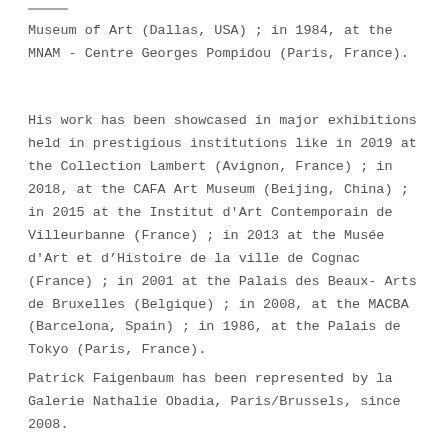Museum of Art (Dallas, USA) ; in 1984, at the MNAM - Centre Georges Pompidou (Paris, France).
His work has been showcased in major exhibitions held in prestigious institutions like in 2019 at the Collection Lambert (Avignon, France) ; in 2018, at the CAFA Art Museum (Beijing, China) ; in 2015 at the Institut d'Art Contemporain de Villeurbanne (France) ; in 2013 at the Musée d'Art et d'Histoire de la ville de Cognac (France) ; in 2001 at the Palais des Beaux- Arts de Bruxelles (Belgique) ; in 2008, at the MACBA (Barcelona, Spain) ; in 1986, at the Palais de Tokyo (Paris, France).
Patrick Faigenbaum has been represented by la Galerie Nathalie Obadia, Paris/Brussels, since 2008.